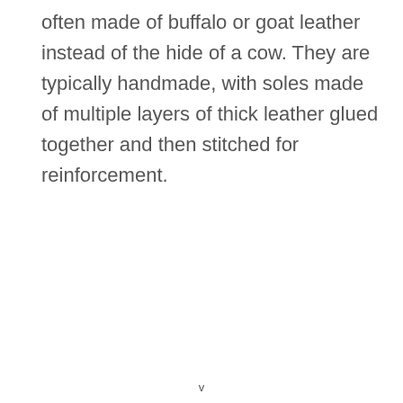often made of buffalo or goat leather instead of the hide of a cow. They are typically handmade, with soles made of multiple layers of thick leather glued together and then stitched for reinforcement.
v